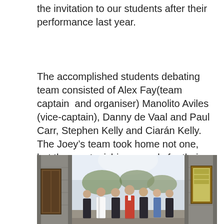the invitation to our students after their performance last year.
The accomplished students debating team consisted of Alex Fay(team captain  and organiser) Manolito Aviles (vice-captain), Danny de Vaal and Paul Carr, Stephen Kelly and Ciarán Kelly. The Joey's team took home not one, but three astonishing awards for their performance over the weekend's debating.
[Figure (photo): Group photo of six young men in formal attire standing under a stone arch, with trees visible in the background through the arch opening.]